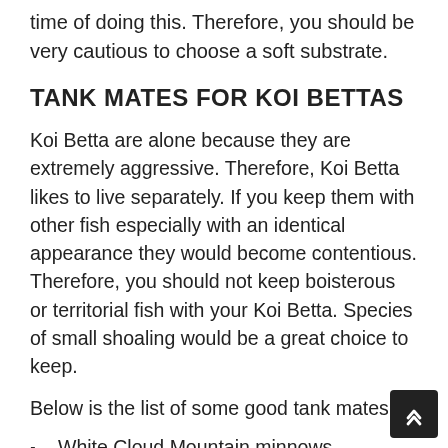time of doing this. Therefore, you should be very cautious to choose a soft substrate.
TANK MATES FOR KOI BETTAS
Koi Betta are alone because they are extremely aggressive. Therefore, Koi Betta likes to live separately. If you keep them with other fish especially with an identical appearance they would become contentious. Therefore, you should not keep boisterous or territorial fish with your Koi Betta. Species of small shoaling would be a great choice to keep.
Below is the list of some good tank mates:
White Cloud Mountain minnows
Corydoras catfish